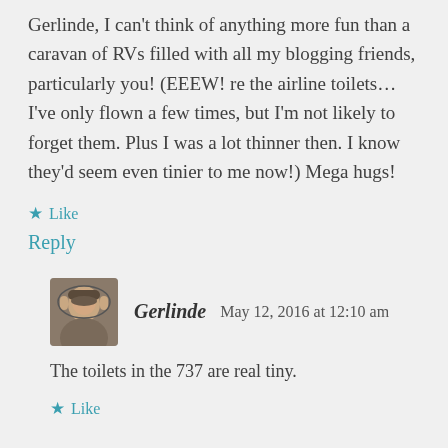Gerlinde, I can't think of anything more fun than a caravan of RVs filled with all my blogging friends, particularly you! (EEEW! re the airline toilets… I've only flown a few times, but I'm not likely to forget them. Plus I was a lot thinner then. I know they'd seem even tinier to me now!) Mega hugs!
★ Like
Reply
Gerlinde   May 12, 2016 at 12:10 am
The toilets in the 737 are real tiny.
★ Like